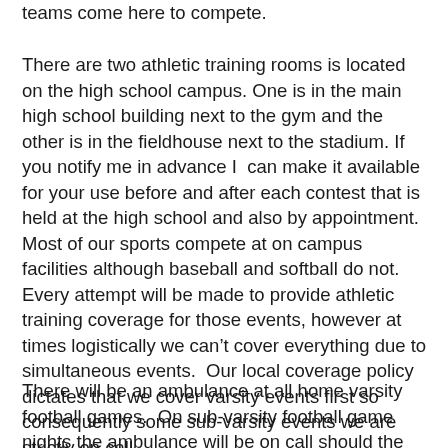teams come here to compete.
There are two athletic training rooms is located on the high school campus. One is in the main high school building next to the gym and the other is in the fieldhouse next to the stadium. If you notify me in advance I  can make it available for your use before and after each contest that is held at the high school and also by appointment.  Most of our sports compete at on campus facilities although baseball and softball do not.  Every attempt will be made to provide athletic training coverage for those events, however at times logistically we can't cover everything due to simultaneous events.  Our local coverage policy dictates that we cover varsity events first so consequently some sub-varsity events we are strictly on call.
There will be an ambulance at all home varsity football games.  On sub-varsity football game nights the ambulance will be on call should the need arise to utilize